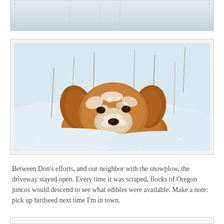[Figure (photo): Partial photo at top of page — appears to be a snowy outdoor scene, only bottom portion visible]
[Figure (photo): A golden/reddish dog lying in deep snow, face covered with snow flakes, looking at camera. Dry grass stalks visible in snowy background.]
Between Don's efforts, and our neighbor with the snowplow, the driveway stayed open. Every time it was scraped, flocks of Oregon juncos would descend to see what edibles were available. Make a note: pick up birdseed next time I'm in town.